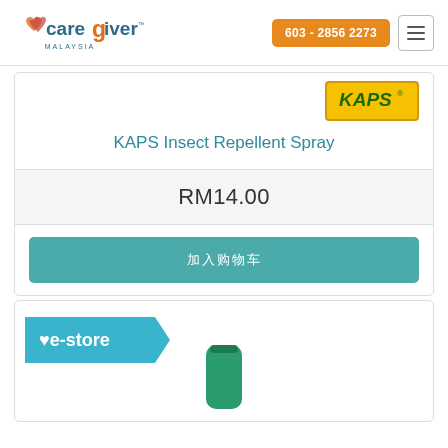[Figure (logo): Caregiver Malaysia logo with orange and red heart icon]
603 - 2856 2273
[Figure (logo): KAPS brand badge in yellow with green text]
KAPS Insect Repellent Spray
RM14.00
加入购物车
[Figure (logo): e-store badge in teal with heart icon]
[Figure (photo): Green spray bottle product image (partial)]